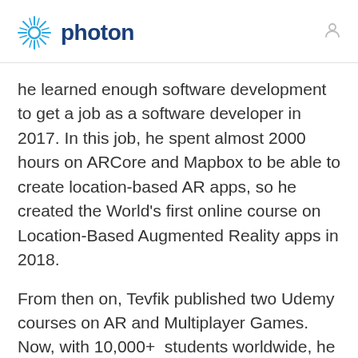photon
he learned enough software development to get a job as a software developer in 2017. In this job, he spent almost 2000 hours on ARCore and Mapbox to be able to create location-based AR apps, so he created the World's first online course on Location-Based Augmented Reality apps in 2018.
From then on, Tevfik published two Udemy courses on AR and Multiplayer Games. Now, with 10,000+  students worldwide, he can finally working full time on Udemy to create AR/VR Games courses focusing mainly on Multiplayer.